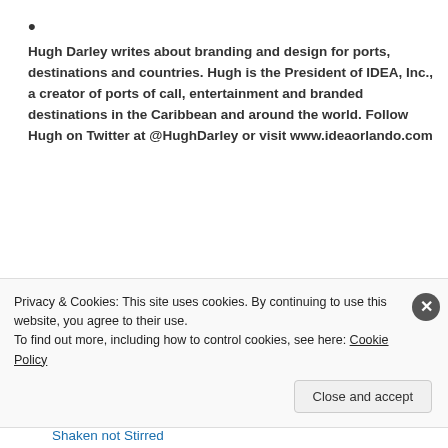•
Hugh Darley writes about branding and design for ports, destinations and countries. Hugh is the President of IDEA, Inc., a creator of ports of call, entertainment and branded destinations in the Caribbean and around the world. Follow Hugh on Twitter at @HughDarley or visit www.ideaorlando.com
Hugh Darley
Future of Business on the High Seas
Aaron #44
TGIF
Orwell's 1984 in 2021!
Shaken not Stirred
Privacy & Cookies: This site uses cookies. By continuing to use this website, you agree to their use.
To find out more, including how to control cookies, see here: Cookie Policy